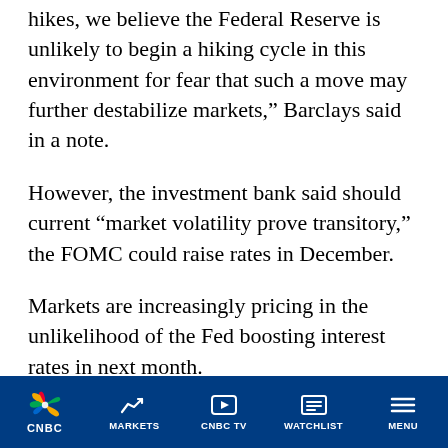hikes, we believe the Federal Reserve is unlikely to begin a hiking cycle in this environment for fear that such a move may further destabilize markets,” Barclays said in a note.
However, the investment bank said should current “market volatility prove transitory,” the FOMC could raise rates in December.
Markets are increasingly pricing in the unlikelihood of the Fed boosting interest rates in next month.
Earlier on Monday, overnight indexed swap rates implied traders now see a 50 percent chance that
CNBC | MARKETS | CNBC TV | WATCHLIST | MENU